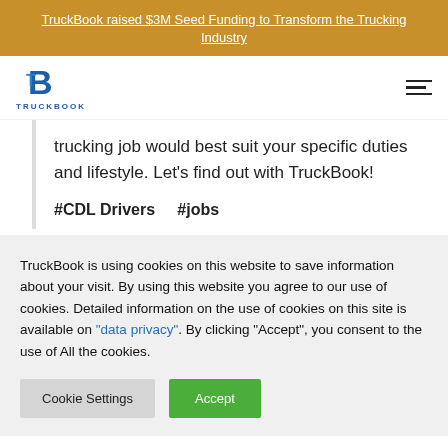TruckBook raised $3M Seed Funding to Transform the Trucking Industry
[Figure (logo): TruckBook logo with stylized B icon and TRUCKBOOK text]
trucking job would best suit your specific duties and lifestyle. Let's find out with TruckBook!
#CDL Drivers   #jobs
TruckBook is using cookies on this website to save information about your visit. By using this website you agree to our use of cookies. Detailed information on the use of cookies on this site is available on "data privacy". By clicking "Accept", you consent to the use of All the cookies.